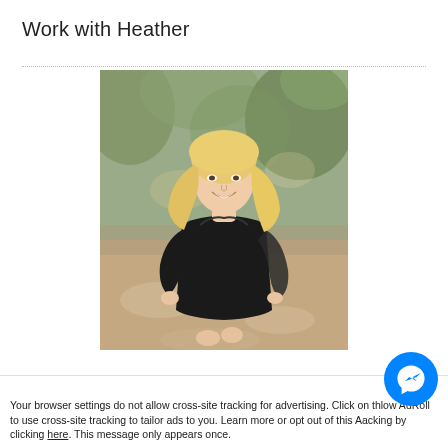Work with Heather
[Figure (photo): Professional photo of a woman with long blonde hair wearing a black dress, standing outdoors in a wooded/gravel area, posing with one hand on hip and smiling.]
Acce × Your browser settings do not allow cross-site tracking for advertising. Click on th low AdRoll to use cross-site tracking to tailor ads to you. Learn more or opt out of this A acking by clicking here. This message only appears once.